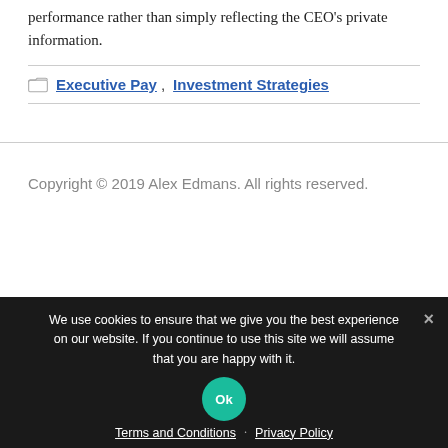performance rather than simply reflecting the CEO's private information.
Executive Pay, Investment Strategies
Copyright © 2019 Alex Edmans. All rights reserved.
We use cookies to ensure that we give you the best experience on our website. If you continue to use this site we will assume that you are happy with it.
Terms and Conditions · Privacy Policy